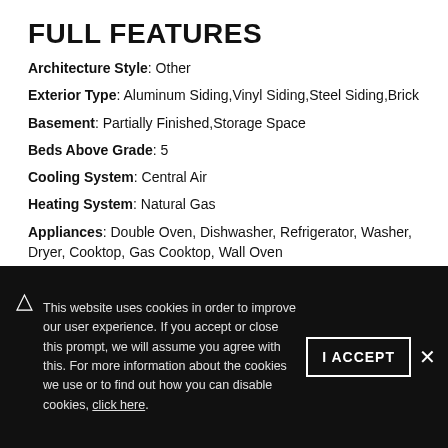FULL FEATURES
Architecture Style: Other
Exterior Type: Aluminum Siding,Vinyl Siding,Steel Siding,Brick
Basement: Partially Finished,Storage Space
Beds Above Grade: 5
Cooling System: Central Air
Heating System: Natural Gas
Appliances: Double Oven, Dishwasher, Refrigerator, Washer, Dryer, Cooktop, Gas Cooktop, Wall Oven
Main Level Primary Bedroom: No
This website uses cookies in order to improve our user experience. If you accept or close this prompt, we will assume you agree with this. For more information about the cookies we use or to find out how you can disable cookies, click here.